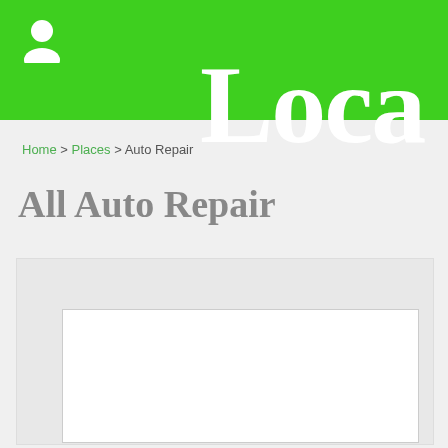Loca
Home > Places > Auto Repair
All Auto Repair
[Figure (map): Map area showing location for All Auto Repair, with a white inner map box on a light gray background]